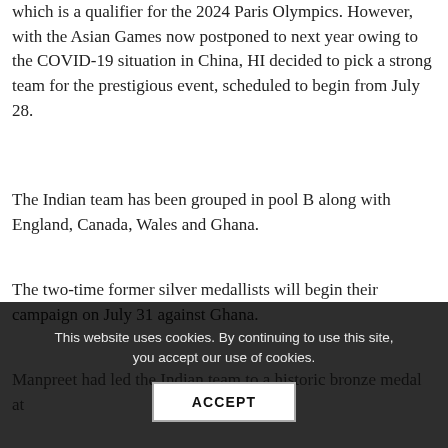which is a qualifier for the 2024 Paris Olympics. However, with the Asian Games now postponed to next year owing to the COVID-19 situation in China, HI decided to pick a strong team for the prestigious event, scheduled to begin from July 28.
The Indian team has been grouped in pool B along with England, Canada, Wales and Ghana.
The two-time former silver medallists will begin their campaign on July 31 against Ghana.
Manpreet had led the Indian team to a historic bronze medal at
This website uses cookies. By continuing to use this site, you accept our use of cookies.
ACCEPT